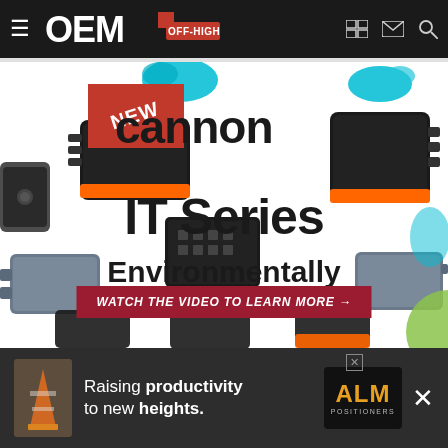OEM OFF-HIGHWAY
[Figure (photo): Cannon IT Series Environmentally Sealed Connectors advertisement showing multiple black and grey connector components scattered on white background with orange and teal accent connectors. Features a red 'NEW' ribbon badge, the 'cannon' brand name in large text, 'IT Series' heading, 'Environmentally Sealed Connectors' subtitle, and a dark red CTA button reading 'WATCH THE VIDEO TO LEARN MORE →']
[Figure (photo): ALM Positioners banner advertisement at bottom with text 'Raising productivity to new heights.' alongside ALM logo in gold/yellow on dark background]